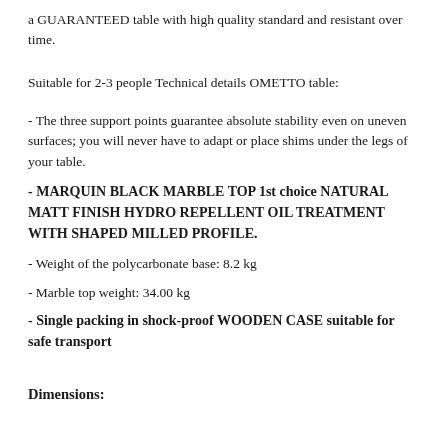a GUARANTEED table with high quality standard and resistant over time.
Suitable for 2-3 people Technical details OMETTO table:
- The three support points guarantee absolute stability even on uneven surfaces; you will never have to adapt or place shims under the legs of your table.
- MARQUIN BLACK MARBLE TOP 1st choice NATURAL MATT FINISH HYDRO REPELLENT OIL TREATMENT WITH SHAPED MILLED PROFILE.
- Weight of the polycarbonate base: 8.2 kg
- Marble top weight: 34.00 kg
- Single packing in shock-proof WOODEN CASE suitable for safe transport
Dimensions: